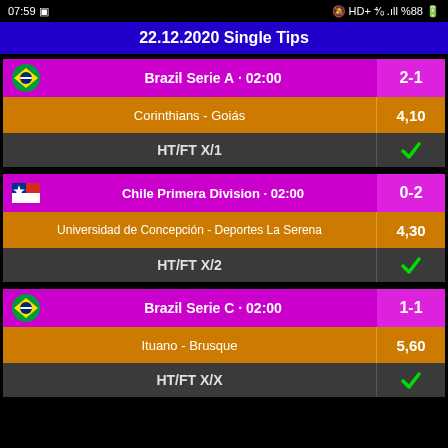07:59  HD+ 4/0 %88
22.12.2020 Single Tips
| League | Score |
| --- | --- |
| Brazil Serie A - 02:00 | 2-1 |
| Corinthians - Goiás | 4,10 |
| HT/FT X/1 | ✓ |
| League | Score |
| --- | --- |
| Chile Primera Division - 02:00 | 0-2 |
| Universidad de Concepción - Deportes La Serena | 4,30 |
| HT/FT X/2 | ✓ |
| League | Score |
| --- | --- |
| Brazil Serie C - 02:00 | 1-1 |
| Ituano - Brusque | 5,60 |
| HT/FT X/X | ✓ |